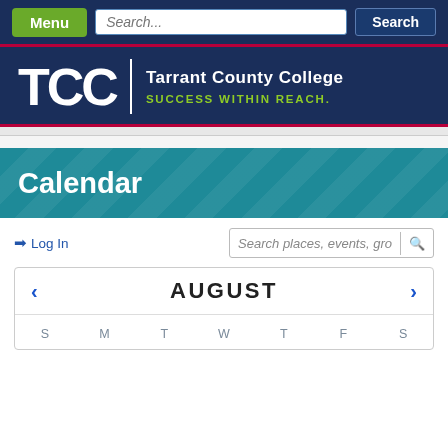Menu | Search... | Search
[Figure (logo): TCC Tarrant County College logo with tagline SUCCESS WITHIN REACH.]
Calendar
Log In
Search places, events, gro
| S | M | T | W | T | F | S |
| --- | --- | --- | --- | --- | --- | --- |
AUGUST